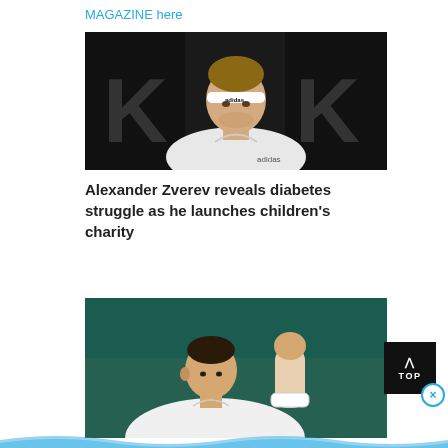MAGAZINE here
[Figure (photo): Tennis player Alexander Zverev wearing a white Adidas headband and white Adidas shirt, looking intense, dark background with large letters]
Alexander Zverev reveals diabetes struggle as he launches children's charity
[Figure (photo): Tennis player Novak Djokovic in white shirt raising his fist in celebration, green court background]